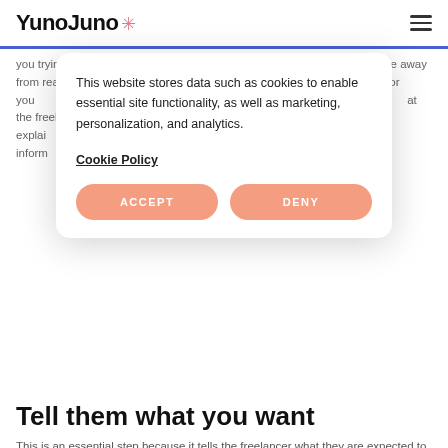YunoJuno
you trying to make? Why does it matter? What do you want readers to take away from reading this? Use precise language ... engage ... you are or you ... ing a project ... at the freelan ... o. You explain ... You can use ... inform ... u give them ... you need ...
This website stores data such as cookies to enable essential site functionality, as well as marketing, personalization, and analytics.

Cookie Policy

ACCEPT   DENY
Tell them what you want
This is an essential step because it tells the freelancer what they are expected to do. When a project brief is written